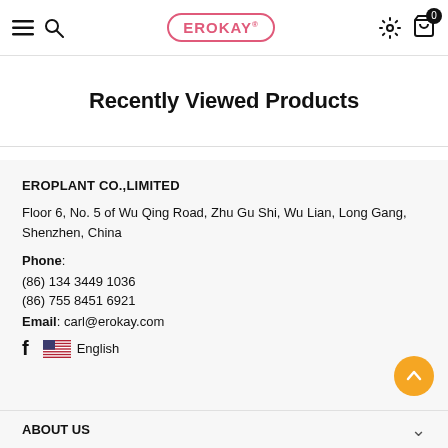EROKAY – Navigation bar with menu, search, settings, and cart (0 items)
Recently Viewed Products
EROPLANT CO.,LIMITED
Floor 6, No. 5 of Wu Qing Road, Zhu Gu Shi, Wu Lian, Long Gang, Shenzhen, China
Phone: (86) 134 3449 1036
(86) 755 8451 6921
Email: carl@erokay.com
Facebook | English (language selector)
ABOUT US